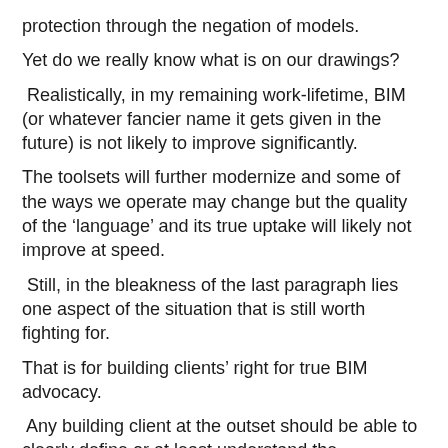protection through the negation of models.
Yet do we really know what is on our drawings?
Realistically, in my remaining work-lifetime, BIM (or whatever fancier name it gets given in the future) is not likely to improve significantly.
The toolsets will further modernize and some of the ways we operate may change but the quality of the ‘language’ and its true uptake will likely not improve at speed.
Still, in the bleakness of the last paragraph lies one aspect of the situation that is still worth fighting for.
That is for building clients’ right for true BIM advocacy.
Any building client at the outset should be able to clearly define or at least understand the communication language of their building project.
Even before any digital tools get considered, the language must be defined.